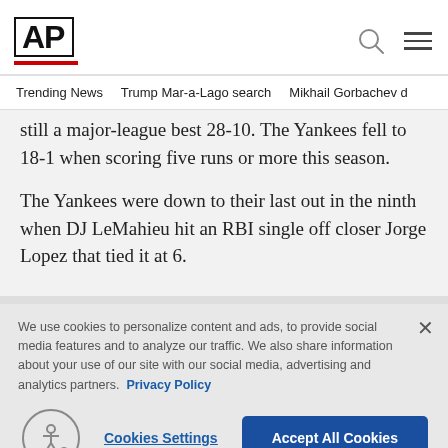AP
Trending News   Trump Mar-a-Lago search   Mikhail Gorbachev d
still a major-league best 28-10. The Yankees fell to 18-1 when scoring five runs or more this season.
The Yankees were down to their last out in the ninth when DJ LeMahieu hit an RBI single off closer Jorge Lopez that tied it at 6.
We use cookies to personalize content and ads, to provide social media features and to analyze our traffic. We also share information about your use of our site with our social media, advertising and analytics partners. Privacy Policy